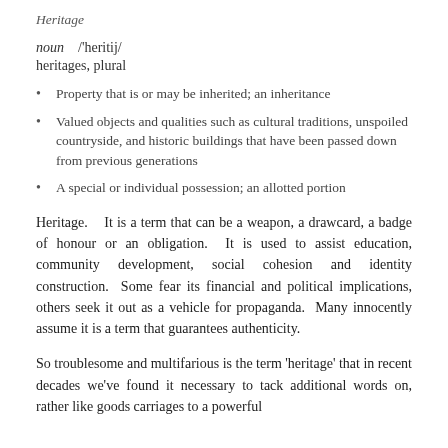Heritage
noun  /'heritij/
heritages, plural
Property that is or may be inherited; an inheritance
Valued objects and qualities such as cultural traditions, unspoiled countryside, and historic buildings that have been passed down from previous generations
A special or individual possession; an allotted portion
Heritage.    It is a term that can be a weapon, a drawcard, a badge of honour or an obligation.  It is used to assist education, community development, social cohesion and identity construction.  Some fear its financial and political implications, others seek it out as a vehicle for propaganda.  Many innocently assume it is a term that guarantees authenticity.
So troublesome and multifarious is the term 'heritage' that in recent decades we've found it necessary to tack additional words on, rather like goods carriages to a powerful